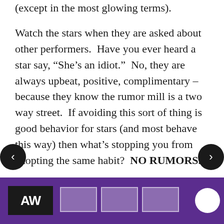(except in the most glowing terms).

Watch the stars when they are asked about other performers.  Have you ever heard a star say, “She’s an idiot.”  No, they are always upbeat, positive, complimentary – because they know the rumor mill is a two way street.  If avoiding this sort of thing is good behavior for stars (and most behave this way) then what’s stopping you from adopting the same habit?  NO RUMORS.
[Figure (other): Purple footer bar with a dark logo block on the left reading 'A.W.' and several rectangular placeholder boxes and icons.]